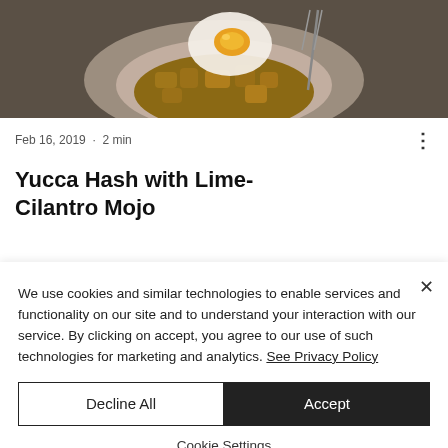[Figure (photo): Top portion of a food dish photo showing a plate with hash and a fried egg, with fork visible, shot from above on a dark surface.]
Feb 16, 2019 · 2 min
Yucca Hash with Lime-Cilantro Mojo
My husband's friend hooked us up
We use cookies and similar technologies to enable services and functionality on our site and to understand your interaction with our service. By clicking on accept, you agree to our use of such technologies for marketing and analytics. See Privacy Policy
Decline All
Accept
Cookie Settings